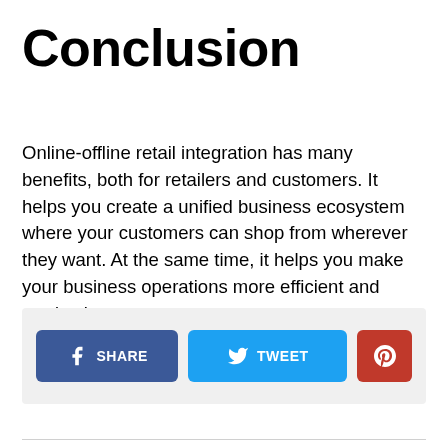Conclusion
Online-offline retail integration has many benefits, both for retailers and customers. It helps you create a unified business ecosystem where your customers can shop from wherever they want. At the same time, it helps you make your business operations more efficient and productive.
[Figure (other): Social sharing buttons: Facebook SHARE button (dark blue), Twitter TWEET button (light blue), Pinterest button (red) with social media icons]